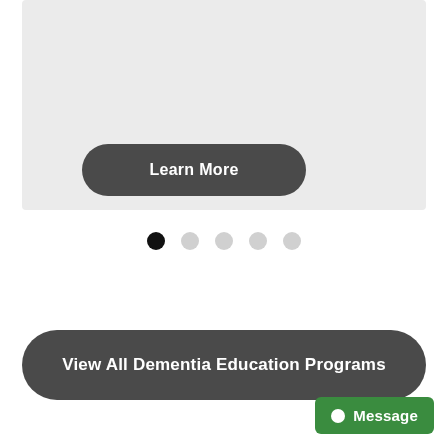[Figure (screenshot): A light gray carousel/slide placeholder area]
Learn More
[Figure (infographic): Carousel dot indicators: 5 dots, first one active (black), rest light gray]
View All Dementia Education Programs
Message